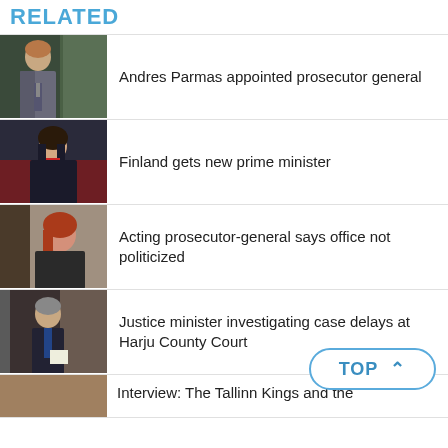RELATED
Andres Parmas appointed prosecutor general
Finland gets new prime minister
Acting prosecutor-general says office not politicized
Justice minister investigating case delays at Harju County Court
Interview: The Tallinn Kings and the…